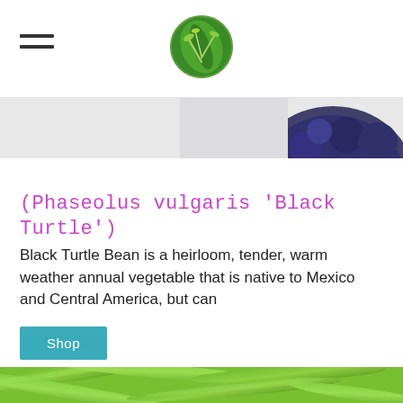Navigation header with hamburger menu and circular plant logo
[Figure (photo): Partial image of blueberries in a dark bowl on a white background, cropped at top]
(Phaseolus vulgaris 'Black Turtle')
Black Turtle Bean is a heirloom, tender, warm weather annual vegetable that is native to Mexico and Central America, but can
Shop
[Figure (photo): Close-up photo of green bean pods piled together, bright green color]